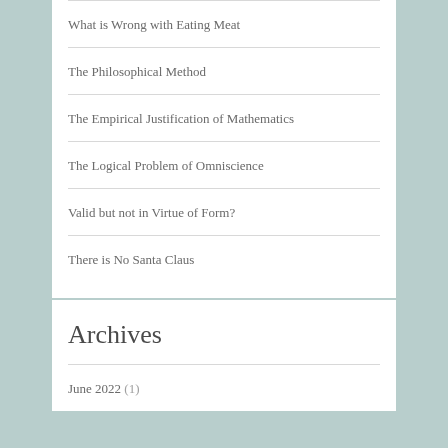What is Wrong with Eating Meat
The Philosophical Method
The Empirical Justification of Mathematics
The Logical Problem of Omniscience
Valid but not in Virtue of Form?
There is No Santa Claus
Archives
June 2022 (1)